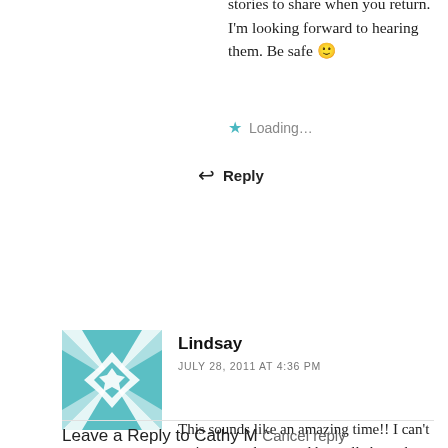stories to share when you return. I'm looking forward to hearing them. Be safe 🙂
Loading...
↩ Reply
[Figure (illustration): Avatar image for Lindsay — a teal/white geometric quilt-pattern square icon]
Lindsay
JULY 28, 2011 AT 4:36 PM
This sounds like an amazing time!! I can't wait to see photos and hear all about the trip!! Have a wonderful, wonderful time!!!!
Loading...
↩ Reply
Leave a Reply to Cathy M Cancel reply